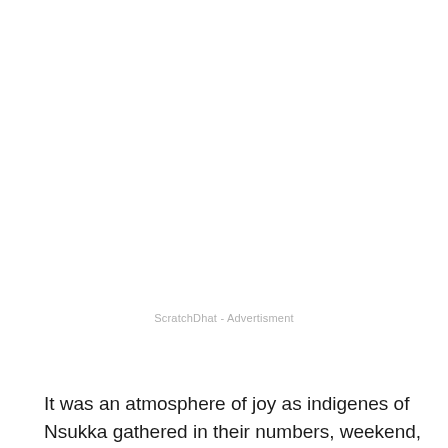ScratchDhat - Advertisment
It was an atmosphere of joy as indigenes of Nsukka gathered in their numbers, weekend, and unanimously ended the age-